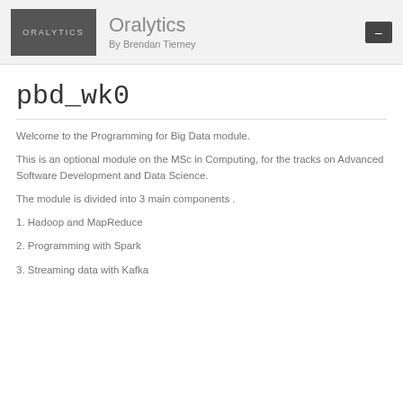Oralytics — By Brendan Tierney
pbd_wk0
Welcome to the Programming for Big Data module.
This is an optional module on the MSc in Computing, for the tracks on Advanced Software Development and Data Science.
The module is divided into 3 main components .
1. Hadoop and MapReduce
2. Programming with Spark
3. Streaming data with Kafka